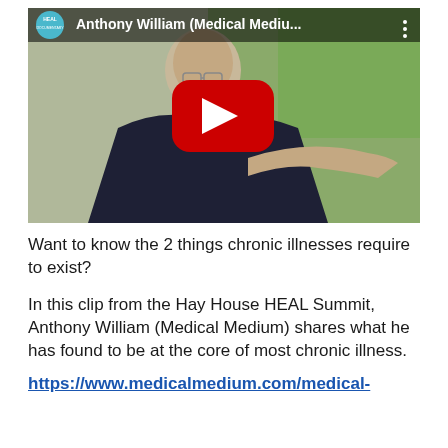[Figure (screenshot): YouTube video thumbnail showing a man in a dark long-sleeve shirt gesturing with his hand. The video title bar reads 'Anthony William (Medical Mediu...' with a HEAL documentary logo on the left. A red YouTube play button is centered on the image.]
Want to know the 2 things chronic illnesses require to exist?
In this clip from the Hay House HEAL Summit, Anthony William (Medical Medium) shares what he has found to be at the core of most chronic illness.
https://www.medicalmedium.com/medical-medium-chronic-illness